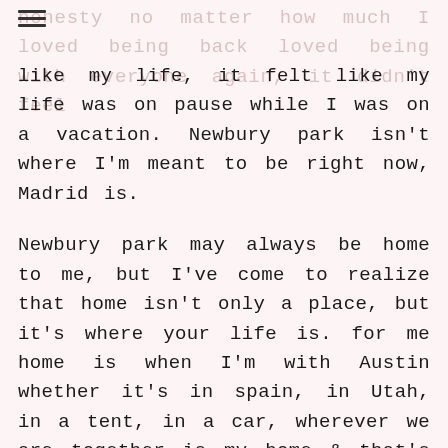honesty no matter how much I loved being back loved being with everyone again, it didn't feel
like my life, it felt like my life was on pause while I was on a vacation. Newbury park isn't where I'm meant to be right now, Madrid is.
Newbury park may always be home to me, but I've come to realize that home isn't only a place, but it's where your life is. for me home is when I'm with Austin whether it's in spain, in Utah, in a tent, in a car, wherever we are together is my home & that's where I'm supposed to be. that's where my life is. Coming back to Madrid was bittersweet, I left friends & family but I came back to Austin & I was so excited & so ready to be back with him, in our life together. i'm so lucky to have a husband who is also my best